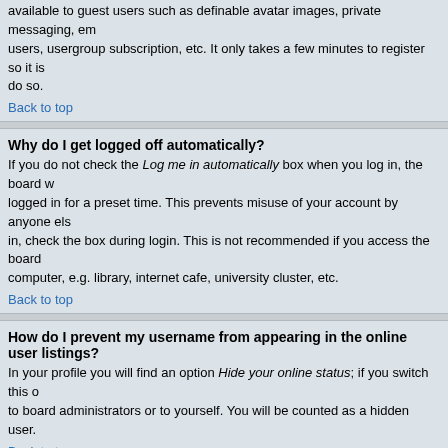available to guest users such as definable avatar images, private messaging, email to users, usergroup subscription, etc. It only takes a few minutes to register so it is do so.
Back to top
Why do I get logged off automatically?
If you do not check the Log me in automatically box when you log in, the board will only keep you logged in for a preset time. This prevents misuse of your account by anyone else. To stay logged in, check the box during login. This is not recommended if you access the board from a shared computer, e.g. library, internet cafe, university cluster, etc.
Back to top
How do I prevent my username from appearing in the online user listings?
In your profile you will find an option Hide your online status; if you switch this on you will only be visible to board administrators or to yourself. You will be counted as a hidden user.
Back to top
I've lost my password!
Don't panic! While your password cannot be retrieved it can be reset. To do this visit the login page and click I've forgotten my password. Follow the instructions and you should be able to log in in no time.
Back to top
I registered but cannot log in!
First check that you are entering the correct username and password. If they are